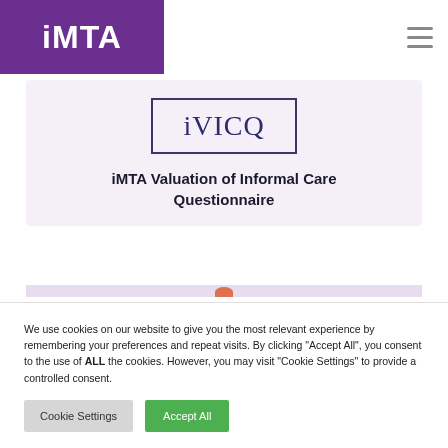iMTA
[Figure (logo): iVICQ logo in a rectangular border]
iMTA Valuation of Informal Care Questionnaire
We use cookies on our website to give you the most relevant experience by remembering your preferences and repeat visits. By clicking "Accept All", you consent to the use of ALL the cookies. However, you may visit "Cookie Settings" to provide a controlled consent.
Cookie Settings | Accept All